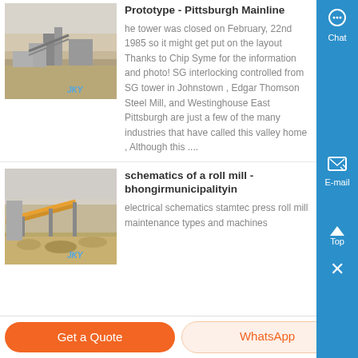Prototype - Pittsburgh Mainline
he tower was closed on February, 22nd 1985 so it might get put on the layout Thanks to Chip Syme for the information and photo! SG interlocking controlled from SG tower in Johnstown , Edgar Thomson Steel Mill, and Westinghouse East Pittsburgh are just a few of the many industries that have called this valley home , Although this ....
schematics of a roll mill - bhongirmunicipalityin
electrical schematics stamtec press roll mill maintenance types and machines
[Figure (photo): Outdoor industrial/mining site photo with JKY watermark]
[Figure (photo): Outdoor industrial conveyor/crushing equipment photo with JKY watermark]